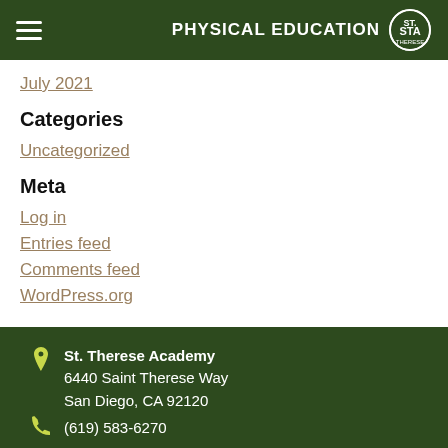PHYSICAL EDUCATION — St. Therese Academy
July 2021
Categories
Uncategorized
Meta
Log in
Entries feed
Comments feed
WordPress.org
St. Therese Academy
6440 Saint Therese Way
San Diego, CA 92120
(619) 583-6270